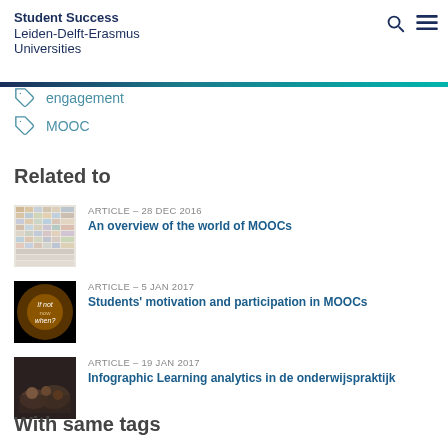Student Success Leiden-Delft-Erasmus Universities
engagement
MOOC
Related to
ARTICLE – 28 DEC 2016
An overview of the world of MOOCs
[Figure (photo): Thumbnail image for MOOC overview article]
ARTICLE – 5 JAN 2017
Students' motivation and participation in MOOCs
[Figure (photo): Thumbnail with 'If not now when?' text on dark background]
ARTICLE – 19 JAN 2017
Infographic Learning analytics in de onderwijspraktijk
[Figure (photo): Thumbnail with people sitting around a table]
With same tags